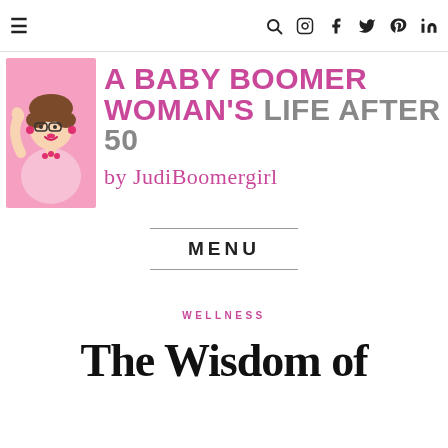≡  🔍  Instagram  f  Twitter  Pinterest  in
[Figure (logo): Blog logo: cartoon illustration of a woman with glasses and pink earrings alongside text 'A BABY BOOMER WOMAN'S LIFE AFTER 50 by JudiBoomergirl']
MENU
WELLNESS
The Wisdom of